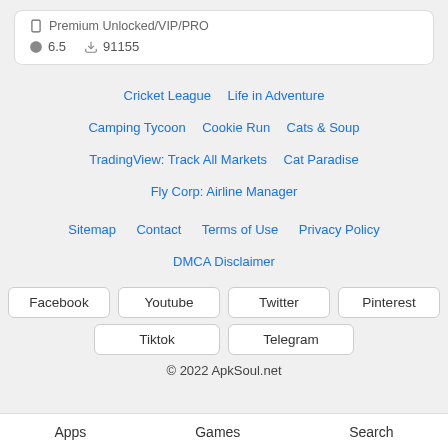Premium Unlocked/VIP/PRO  6.5  91155
Cricket League
Life in Adventure
Camping Tycoon
Cookie Run
Cats & Soup
TradingView: Track All Markets
Cat Paradise
Fly Corp: Airline Manager
Sitemap
Contact
Terms of Use
Privacy Policy
DMCA Disclaimer
Facebook  Youtube  Twitter  Pinterest  Tiktok  Telegram
© 2022 ApkSoul.net
Apps  Games  Search